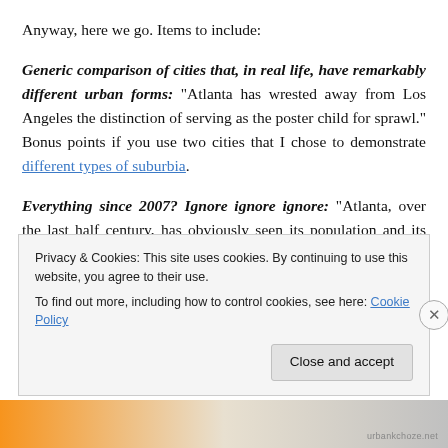Anyway, here we go. Items to include:
Generic comparison of cities that, in real life, have remarkably different urban forms: “Atlanta has wrested away from Los Angeles the distinction of serving as the poster child for sprawl.” Bonus points if you use two cities that I chose to demonstrate different types of suburbia.
Everything since 2007? Ignore ignore ignore: “Atlanta, over the last half century, has obviously seen its population and its economy grow faster than most of the
Privacy & Cookies: This site uses cookies. By continuing to use this website, you agree to their use.
To find out more, including how to control cookies, see here: Cookie Policy